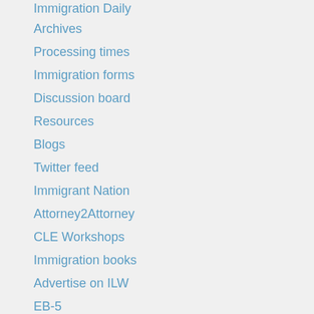Immigration Daily
Archives
Processing times
Immigration forms
Discussion board
Resources
Blogs
Twitter feed
Immigrant Nation
Attorney2Attorney
CLE Workshops
Immigration books
Advertise on ILW
EB-5
한국어
About ILW.COM
Connect to us